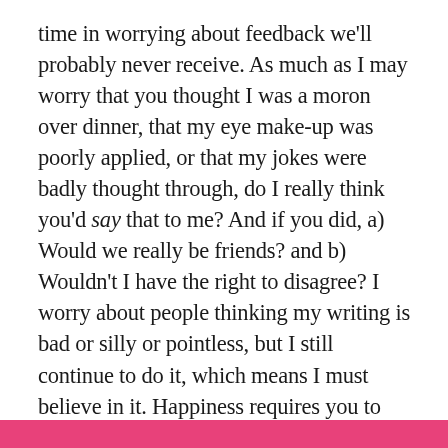time in worrying about feedback we'll probably never receive. As much as I may worry that you thought I was a moron over dinner, that my eye make-up was poorly applied, or that my jokes were badly thought through, do I really think you'd say that to me? And if you did, a) Would we really be friends? and b) Wouldn't I have the right to disagree? I worry about people thinking my writing is bad or silly or pointless, but I still continue to do it, which means I must believe in it. Happiness requires you to back yourself – to have faith that you are a good person and that you're trying your best – in social situations, in your work, and in your application of eyeliner. And if not everybody likes it, that's because people are different, which is healthy.
[Figure (other): Pink/magenta decorative bar at the bottom of the page]